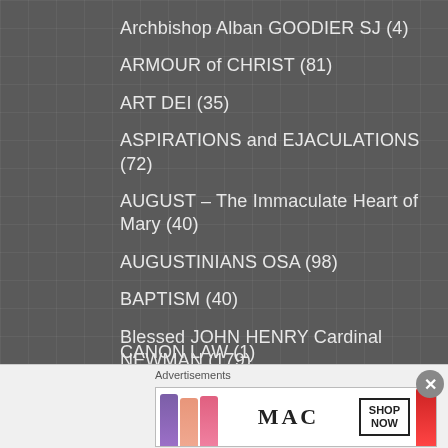Archbishop Alban GOODIER SJ (4)
ARMOUR of CHRIST (81)
ART DEI (35)
ASPIRATIONS and EJACULATIONS (72)
AUGUST – The Immaculate Heart of Mary (40)
AUGUSTINIANS OSA (98)
BAPTISM (40)
Blessed JOHN HENRY Cardinal NEWMAN (179)
BLESSED TRINITY PRAYERS (11)
BREVIARY Prayers (143)
CANON LAW (1)
Advertisements
[Figure (photo): MAC cosmetics advertisement showing lipsticks with SHOP NOW call to action]